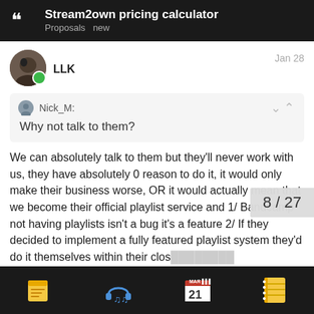Stream2own pricing calculator — Proposals new
LLK   Jan 28
Nick_M: Why not talk to them?
We can absolutely talk to them but they'll never work with us, they have absolutely 0 reason to do it, it would only make their business worse, OR it would actually mean that we become their official playlist service and 1/ Bandcamp not having playlists isn't a bug it's a feature 2/ If they decided to implement a fully featured playlist system they'd do it themselves within their clos… 3/ S2O would have to be included in the c… effectively means we'd be taking o…
8 / 27
Bottom navigation bar